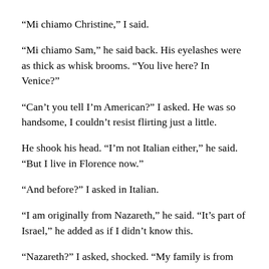“Mi chiamo Christine,” I said.
“Mi chiamo Sam,” he said back. His eyelashes were as thick as whisk brooms. “You live here? In Venice?”
“Can’t you tell I’m American?” I asked. He was so handsome, I couldn’t resist flirting just a little.
He shook his head. “I’m not Italian either,” he said. “But I live in Florence now.”
“And before?” I asked in Italian.
“I am originally from Nazareth,” he said. “It’s part of Israel,” he added as if I didn’t know this.
“Nazareth?” I asked, shocked. “My family is from